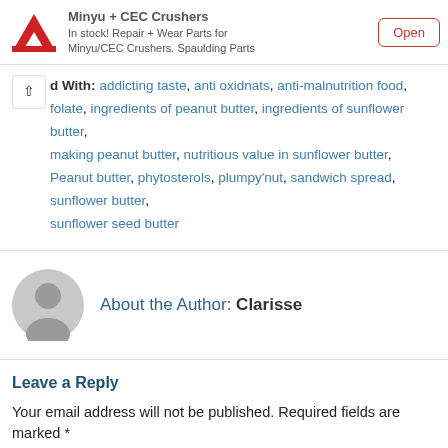[Figure (infographic): Advertisement banner for Minyu + CEC Crushers showing a red logo with stylized M/mountain shape and MINYU text, ad title 'Minyu + CEC Crushers', description 'In stock! Repair + Wear Parts for Minyu/CEC Crushers. Spaulding Parts', and an Open button with red border.]
Tagged With: addicting taste, anti oxidnats, anti-malnutrition food, folate, ingredients of peanut butter, ingredients of sunflower butter, making peanut butter, nutritious value in sunflower butter, Peanut butter, phytosterols, plumpy'nut, sandwich spread, sunflower butter, sunflower seed butter
About the Author: Clarisse
[Figure (illustration): Generic gray user avatar silhouette icon (circle head + shoulders shape)]
Leave a Reply
Your email address will not be published. Required fields are marked *